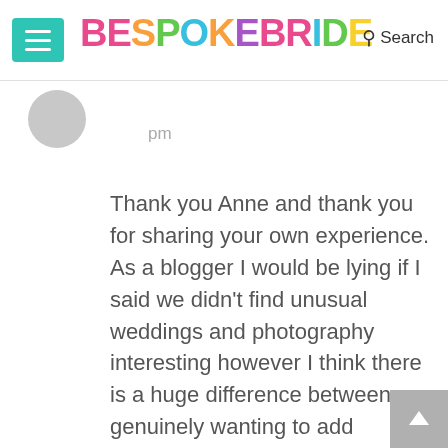BESPOKE BRIDE | Search
pm
Thank you Anne and thank you for sharing your own experience. As a blogger I would be lying if I said we didn't find unusual weddings and photography interesting however I think there is a huge difference between genuinely wanting to add personality and character to your wedding and photography style and styling